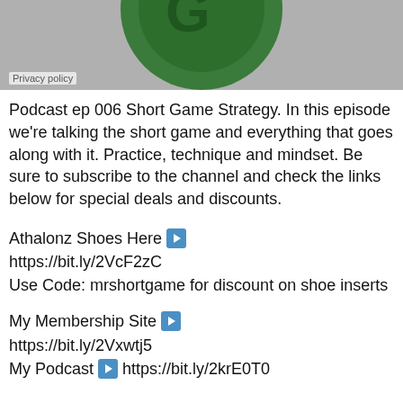[Figure (photo): Partial view of a green circular logo on a gray background with a Privacy policy label overlay in the bottom left]
Podcast ep 006 Short Game Strategy. In this episode we're talking the short game and everything that goes along with it. Practice, technique and mindset. Be sure to subscribe to the channel and check the links below for special deals and discounts.
Athalonz Shoes Here ▶ https://bit.ly/2VcF2zC Use Code: mrshortgame for discount on shoe inserts
My Membership Site ▶ https://bit.ly/2Vxwtj5 My Podcast ▶ https://bit.ly/2krE0T0